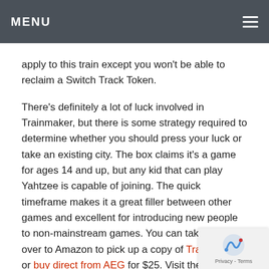MENU
apply to this train except you won't be able to reclaim a Switch Track Token.
There's definitely a lot of luck involved in Trainmaker, but there is some strategy required to determine whether you should press your luck or take an existing city. The box claims it's a game for ages 14 and up, but any kid that can play Yahtzee is capable of joining. The quick timeframe makes it a great filler between other games and excellent for introducing new people to non-mainstream games. You can take a ride over to Amazon to pick up a copy of Trainmaker or buy direct from AEG for $25. Visit their website to see what else Alderac Entertainment Group is delivering to cities around the country. Hop over to Twitter and Facebook to read more.
When was the last time you sat at a railroad crossing and counted the number of cars?